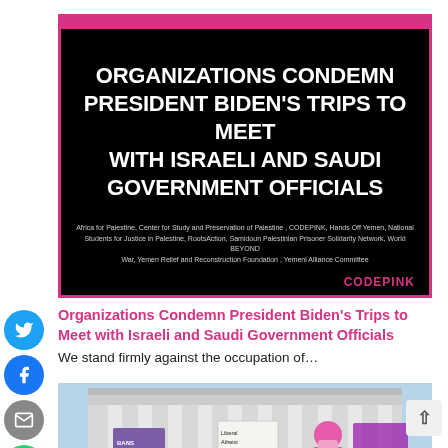[Figure (infographic): Black background promotional image with bold white uppercase text reading 'ORGANIZATIONS CONDEMN PRESIDENT BIDEN'S TRIPS TO MEET WITH ISRAELI AND SAUDI GOVERNMENT OFFICIALS', with a pink/magenta top border, list of organizations in small text, and CODEPINK branding at bottom right in pink]
Organizations Condemn President Biden’s Trips to Meet with Israeli and Saudi Government Officials
We stand firmly against the occupation of…
[Figure (photo): Protesters outside the US Supreme Court building; one protester holds a sign reading 'Liberal Atheist Against Abortion' and another holds a 'BANS OUR BODIES' sign; a person with pink hair is visible]